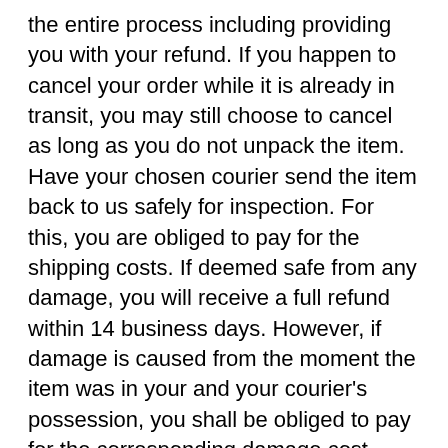the entire process including providing you with your refund. If you happen to cancel your order while it is already in transit, you may still choose to cancel as long as you do not unpack the item. Have your chosen courier send the item back to us safely for inspection. For this, you are obliged to pay for the shipping costs. If deemed safe from any damage, you will receive a full refund within 14 business days. However, if damage is caused from the moment the item was in your and your courier's possession, you shall be obliged to pay for the corresponding damage cost.
3. When are Consumer Rights Affected?
When your order was verified, but:
• Stock is unavailable
• Your shipping address is out of our reach
• Product prices were not updated
• [text continues below]